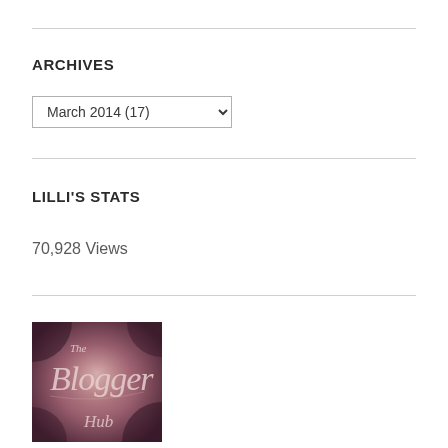ARCHIVES
March 2014 (17)
LILLI'S STATS
70,928 Views
[Figure (logo): The Blogger Hub logo — decorative script text on a dark plum/rose textured background reading 'The Blogger Hub']